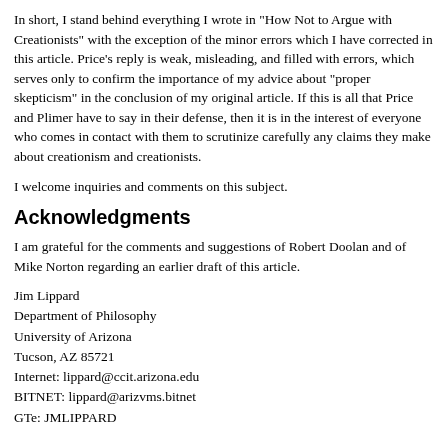In short, I stand behind everything I wrote in "How Not to Argue with Creationists" with the exception of the minor errors which I have corrected in this article. Price's reply is weak, misleading, and filled with errors, which serves only to confirm the importance of my advice about "proper skepticism" in the conclusion of my original article. If this is all that Price and Plimer have to say in their defense, then it is in the interest of everyone who comes in contact with them to scrutinize carefully any claims they make about creationism and creationists.
I welcome inquiries and comments on this subject.
Acknowledgments
I am grateful for the comments and suggestions of Robert Doolan and of Mike Norton regarding an earlier draft of this article.
Jim Lippard
Department of Philosophy
University of Arizona
Tucson, AZ 85721
Internet: lippard@ccit.arizona.edu
BITNET: lippard@arizvms.bitnet
GTe: JMLIPPARD